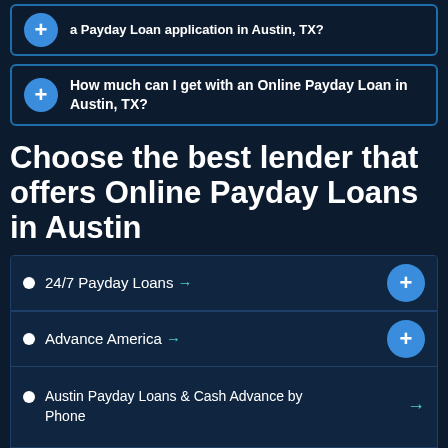a Payday Loan application in Austin, TX?
How much can I get with an Online Payday Loan in Austin, TX?
Choose the best lender that offers Online Payday Loans in Austin
24/7 Payday Loans →
Advance America →
Austin Payday Loans & Cash Advance by Phone →
Cash Advance USA Ltd →